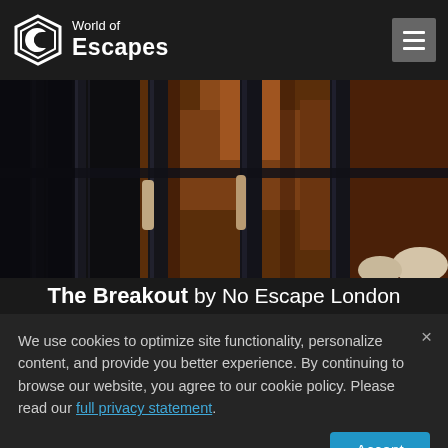[Figure (logo): World of Escapes logo with hexagonal icon and text 'World of Escapes']
[Figure (photo): Person in orange/brown shirt gripping prison bars, dark moody lighting]
The Breakout by No Escape London
We use cookies to optimize site functionality, personalize content, and provide you better experience. By continuing to browse our website, you agree to our cookie policy. Please read our full privacy statement.
[Figure (screenshot): Bottom banner showing partial text 'BATTLE...' in large white letters]